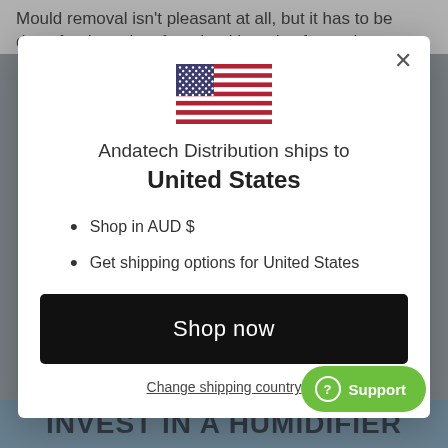Mould removal isn't pleasant at all, but it has to be done for the sake of our health and safety at home
[Figure (screenshot): Modal dialog showing US flag with text 'Andatech Distribution ships to United States', bullet points 'Shop in AUD $' and 'Get shipping options for United States', a black 'Shop now' button, and a 'Change shipping country' link]
Shop in AUD $
Get shipping options for United States
INVEST IN A HUMIDIFIER